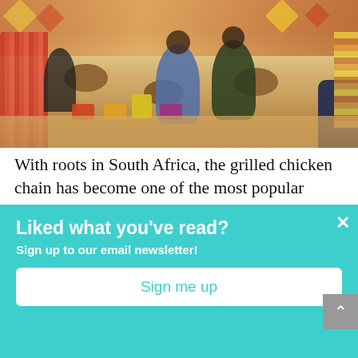[Figure (photo): Interior of a casual dining restaurant with colorful chairs, wooden tables, and customers seated throughout the space. Warm lighting and vibrant decor visible.]
With roots in South Africa, the grilled chicken chain has become one of the most popular casual dining destinations in the UK. With close to 400 locations, the brand's British operations have recently introduced a new sustainable design framework to mirror its dedication to responsibly-sourced food and waste minimization.
Liked what you've read?
Sign up to our email newsletter!
Sign me up